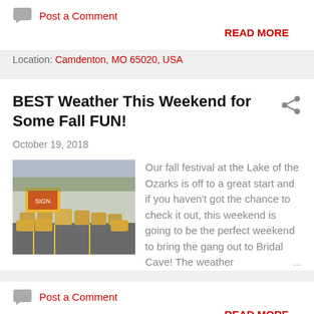Post a Comment
READ MORE
Location: Camdenton, MO 65020, USA
BEST Weather This Weekend for Some Fall FUN!
October 19, 2018
[Figure (photo): Outdoor fall festival scene with hay bales and a sign at Lake of the Ozarks / Bridal Cave]
Our fall festival at the Lake of the Ozarks is off to a great start and if you haven't got the chance to check it out, this weekend is going to be the perfect weekend to bring the gang out to Bridal Cave! The weather ...
Post a Comment
READ MORE
Location: Camdenton, MO 65020, USA